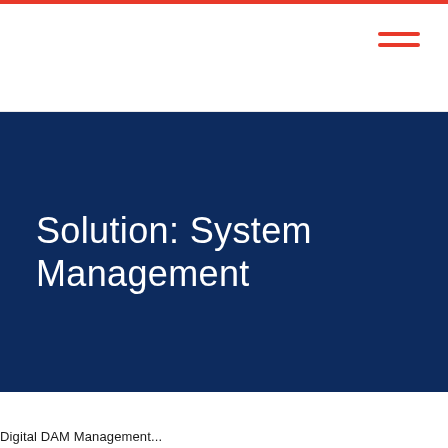Solution: System Management
Digital DAM Management...